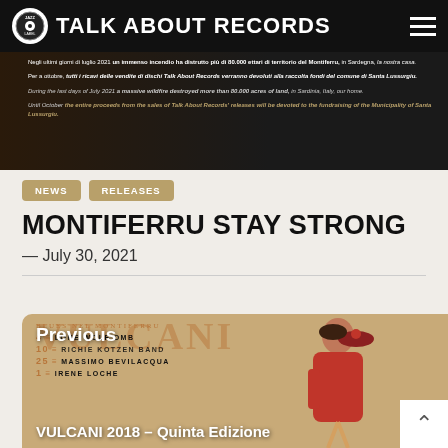TALK ABOUT RECORDS
[Figure (photo): Dark background image with Italian and English text about a wildfire in Sardinia, Montiferru area, July 2021, and fundraising announcement.]
NEWS
RELEASES
MONTIFERRU STAY STRONG
— July 30, 2021
[Figure (photo): Bottom card showing Vulcani album artwork with a pin-up illustration and track listing. Labels: Previous, VULCANI 2018 – Quinta Edizione]